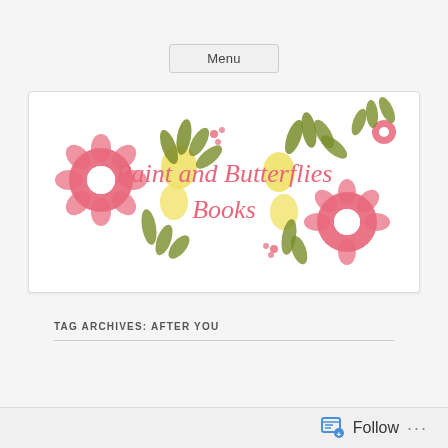Menu
[Figure (illustration): Decorative blog banner with floral design (pink, yellow, and olive green flowers and leaves) surrounding the text 'Paint and Butterflies Books' in pink italic script]
TAG ARCHIVES: AFTER YOU
Follow ...